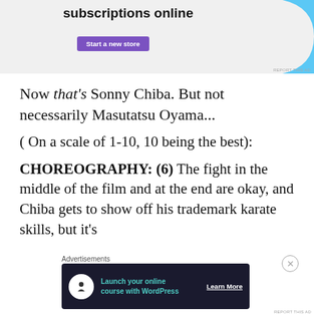[Figure (screenshot): Top advertisement banner with text 'subscriptions online', a purple 'Start a new store' button, and a light blue decorative shape on the right. 'REPORT THIS AD' label at bottom right.]
Now that's Sonny Chiba. But not necessarily Masutatsu Oyama...
( On a scale of 1-10, 10 being the best):
CHOREOGRAPHY: (6) The fight in the middle of the film and at the end are okay, and Chiba gets to show off his trademark karate skills, but it's
Advertisements
[Figure (screenshot): Dark navy advertisement banner: circular white icon with tree/person silhouette, teal text 'Launch your online course with WordPress', white 'Learn More' button with underline. 'REPORT THIS AD' at bottom right.]